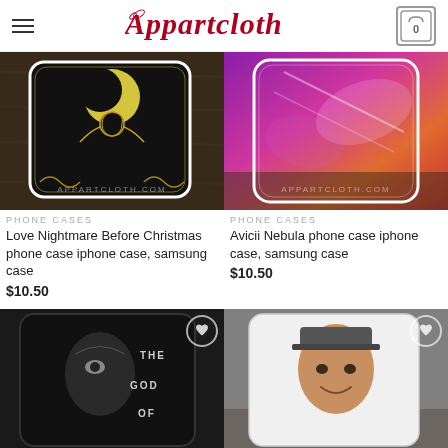Appartcloth
[Figure (photo): Phone case with Love Nightmare Before Christmas artwork on dark background, watermark appartcloth.com]
PHONE CASES
Love Nightmare Before Christmas phone case iphone case, samsung case
$10.50
[Figure (photo): Phone case with Avicii Nebula colorful purple pink orange artwork, watermark appartcloth.com]
PHONE CASES
Avicii Nebula phone case iphone case, samsung case
$10.50
[Figure (photo): Phone case with The God Of text dark dramatic imagery with wishlist heart button]
[Figure (photo): Phone case with smiling young man photo with wishlist heart button]